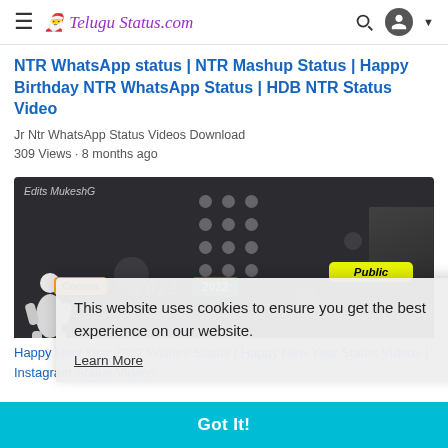Telugu Status .com
NTR WhatsApp status | NTR Mashup Status | Happy Birthday NTR WhatsApp Status | HDB NTR Status Video
Jr Ntr WhatsApp Status Videos Download
309 Views · 8 months ago
[Figure (screenshot): Video thumbnail showing dark background with dots, labels 'Corona', '2022', 'Public', a white 3D figure, and dark shapes on the right. Text overlay shows '2021' in red.]
This website uses cookies to ensure you get the best experience on our website.
Learn More
Got It!
Happy New Year 2022 Wishes Status | Happy New Year Status Videos | Instagram Status Videos